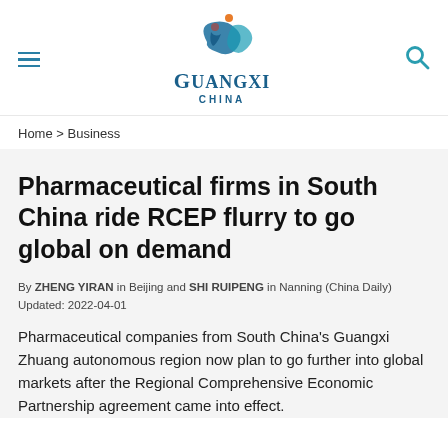Guangxi China
Home > Business
Pharmaceutical firms in South China ride RCEP flurry to go global on demand
By ZHENG YIRAN in Beijing and SHI RUIPENG in Nanning (China Daily)
Updated: 2022-04-01
Pharmaceutical companies from South China's Guangxi Zhuang autonomous region now plan to go further into global markets after the Regional Comprehensive Economic Partnership agreement came into effect.